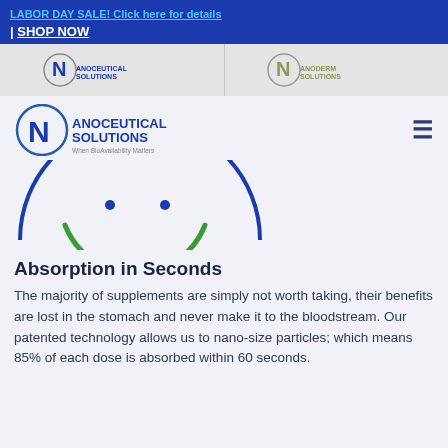LABOR DAY SALE! Click here for details | SHOP NOW
[Figure (logo): Nanoceutical Solutions logo in nav bar (left side)]
[Figure (logo): Nanoderm Solutions logo in nav bar (right side)]
[Figure (logo): Nanoceutical Solutions main logo with tagline 'When BioAvailability Matters']
[Figure (illustration): Circular smiley face icon with blue circle outline and green curved smile with dots, partially visible]
Absorption in Seconds
The majority of supplements are simply not worth taking, their benefits are lost in the stomach and never make it to the bloodstream. Our patented technology allows us to nano-size particles; which means 85% of each dose is absorbed within 60 seconds.